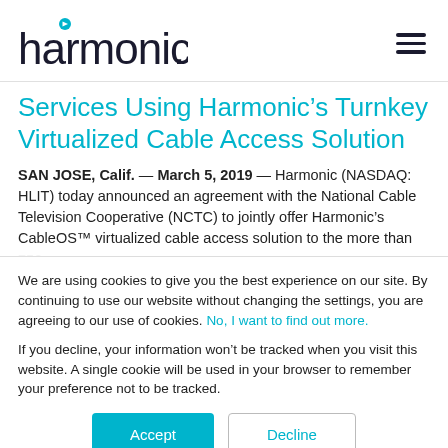harmonic
Services Using Harmonic’s Turnkey Virtualized Cable Access Solution
SAN JOSE, Calif. — March 5, 2019 — Harmonic (NASDAQ: HLIT) today announced an agreement with the National Cable Television Cooperative (NCTC) to jointly offer Harmonic’s CableOS™ virtualized cable access solution to the more than 750
We are using cookies to give you the best experience on our site. By continuing to use our website without changing the settings, you are agreeing to our use of cookies. No, I want to find out more.
If you decline, your information won’t be tracked when you visit this website. A single cookie will be used in your browser to remember your preference not to be tracked.
Accept | Decline